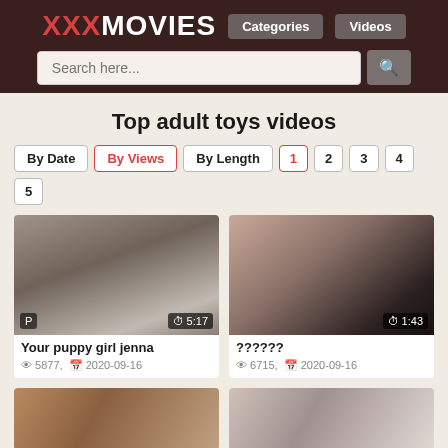XXXMOVIES | Categories | Videos | Search here...
Top adult toys videos
By Date | By Views | By Length | 1 | 2 | 3 | 4 | 5
[Figure (screenshot): Video thumbnail for 'Your puppy girl jenna', duration 5:17]
Your puppy girl jenna
👁 5877,  2020-09-16
[Figure (screenshot): Video thumbnail for '??????', duration 1:43]
??????
👁 6715,  2020-09-16
[Figure (screenshot): Video thumbnail bottom left, partially visible]
[Figure (screenshot): Video thumbnail bottom right, partially visible]